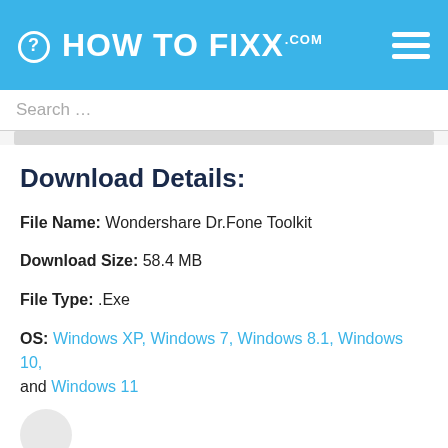HOW TO FIXX.com
Search …
Download Details:
File Name: Wondershare Dr.Fone Toolkit
Download Size: 58.4 MB
File Type: .Exe
OS: Windows XP, Windows 7, Windows 8.1, Windows 10, and Windows 11
License: Free Download